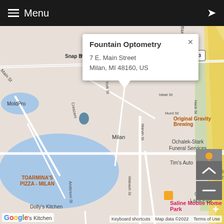[Figure (map): Google Maps screenshot showing Fountain Optometry location in Milan, MI. An info popup shows the business name and address. The map displays nearby streets (W Michigan Ave, E Michigan Ave, Main St, W 2nd St, York St, Marvin St, Hurd St, Hack St, Wabash St, Anderson St), landmarks (MoldPro, Snap Booth Photos, Original Gravity Brewing, Ochalek-Stark Funeral Services, Tim's Auto, Wilson Park, Gump Lake Park, TOARMINA'S PIZZA - MILAN, Saline Mobile Home Park), and a red map pin on the location at 7 E. Main Street, Milan, MI 48160, US.]
≡ Menu
Fountain Optometry
7 E. Main Street
Milan, MI 48160, US
Keyboard shortcuts   Map data ©2022   Terms of Use